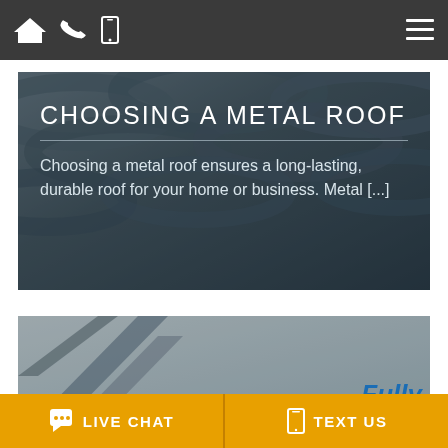[Figure (screenshot): Dark navigation bar with home icon, phone icon, mobile icon on left, and hamburger menu on right]
[Figure (photo): Card with dark metal roof tiles background. Title: CHOOSING A METAL ROOF. Subtitle: Choosing a metal roof ensures a long-lasting, durable roof for your home or business. Metal [...]]
CHOOSING A METAL ROOF
Choosing a metal roof ensures a long-lasting, durable roof for your home or business. Metal [...]
[Figure (photo): Partially visible second card with gray metal sheet background and partial text 'Fully' in blue italic bold]
LIVE CHAT
TEXT US